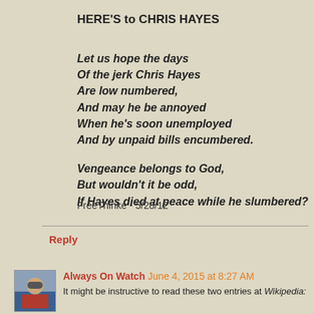HERE'S to CHRIS HAYES
Let us hope the days
Of the jerk Chris Hayes
Are low numbered,
And may he be annoyed
When he's soon unemployed
And by unpaid bills encumbered.

Vengeance belongs to God,
But wouldn't it be odd,
If Hayes died at peace while he slumbered?
FreeThinke - 5/28/12
Reply
Always On Watch June 4, 2015 at 8:27 AM
It might be instructive to read these two entries at Wikipedia: